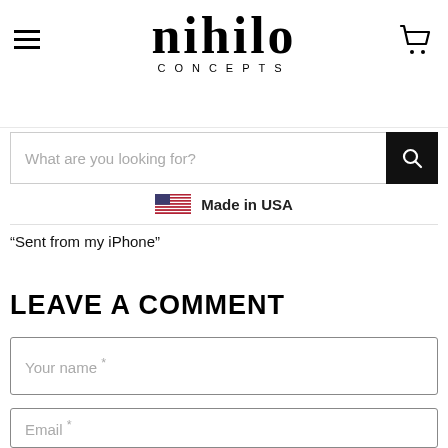nihilo CONCEPTS
What are you looking for?
Made in USA
“Sent from my iPhone”
LEAVE A COMMENT
Your name *
Email *